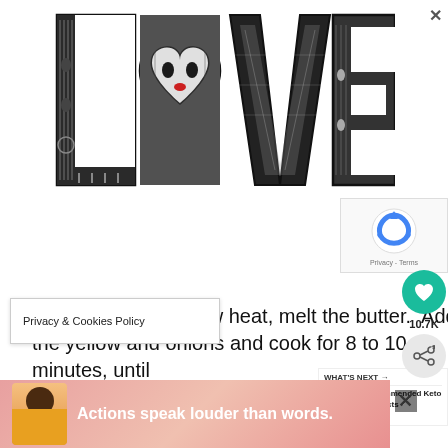[Figure (illustration): Decorative word art spelling 'LOVE' in large black and white illustrated letters filled with faces, patterns, and geometric designs. The 'O' is shaped as a heart. A small red heart accent appears on the face within the heart-shaped O.]
[Figure (screenshot): reCAPTCHA widget with blue recycling-arrow logo and 'Privacy - Terms' text link]
[Figure (screenshot): Social engagement buttons: teal heart like button with 10.7K count and grey share button]
pan over medium-low heat, melt the butter. Add the yellow and onions and cook for 8 to 10 minutes, until translucent.
Privacy & Cookies Policy
[Figure (screenshot): WHAT'S NEXT → Recommended Keto Products banner with food image thumbnails]
[Figure (screenshot): Bottom advertisement banner with dark-skinned person in yellow jacket and text 'Actions speak louder than words.' on a pink/red gradient background]